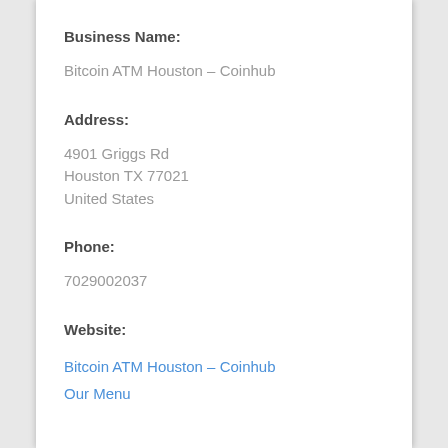Business Name:
Bitcoin ATM Houston – Coinhub
Address:
4901 Griggs Rd
Houston TX 77021
United States
Phone:
7029002037
Website:
Bitcoin ATM Houston – Coinhub
Our Menu